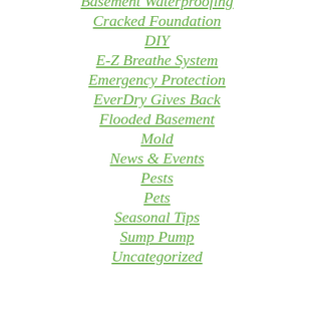Basement Waterproofing
Cracked Foundation
DIY
E-Z Breathe System
Emergency Protection
EverDry Gives Back
Flooded Basement
Mold
News & Events
Pests
Pets
Seasonal Tips
Sump Pump
Uncategorized